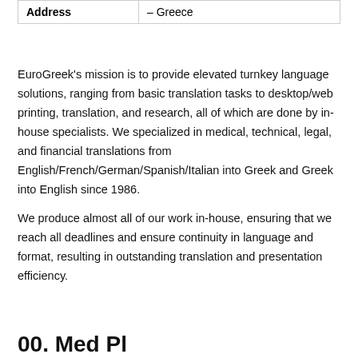| Address |  |
| --- | --- |
| Address | – Greece |
EuroGreek's mission is to provide elevated turnkey language solutions, ranging from basic translation tasks to desktop/web printing, translation, and research, all of which are done by in-house specialists. We specialized in medical, technical, legal, and financial translations from English/French/German/Spanish/Italian into Greek and Greek into English since 1986.
We produce almost all of our work in-house, ensuring that we reach all deadlines and ensure continuity in language and format, resulting in outstanding translation and presentation efficiency.
00. Med Pl...